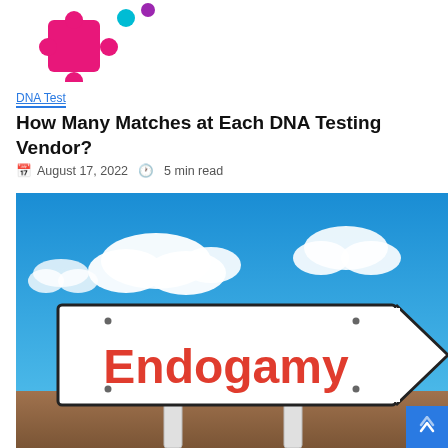[Figure (logo): Colorful puzzle piece logo in pink/magenta with teal and purple accent dots]
DNA Test
How Many Matches at Each DNA Testing Vendor?
August 17, 2022  5 min read
[Figure (photo): Outdoor road sign pointing right reading 'Endogamy' in bold red text, against a blue sky with white clouds background. The sign is mounted on two white poles above arid landscape.]